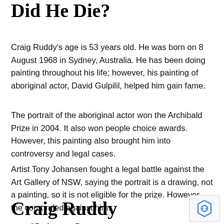Did He Die?
Craig Ruddy's age is 53 years old. He was born on 8 August 1968 in Sydney, Australia. He has been doing painting throughout his life; however, his painting of aboriginal actor, David Gulpilil, helped him gain fame.
The portrait of the aboriginal actor won the Archibald Prize in 2004. It also won people choice awards. However, this painting also brought him into controversy and legal cases.
Artist Tony Johansen fought a legal battle against the Art Gallery of NSW, saying the portrait is a drawing, not a painting, so it is not eligible for the prize. However, the court ruled against him.
Craig Ruddy Wikined